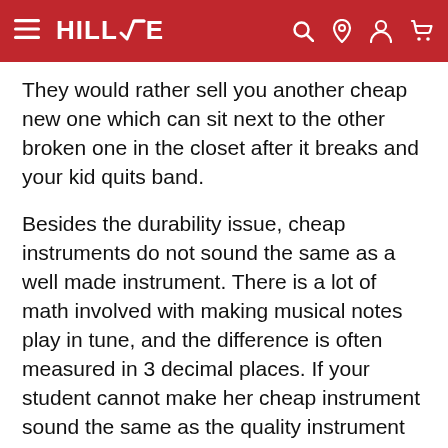HILLVE (navigation bar with hamburger menu, search, location, account, and cart icons)
They would rather sell you another cheap new one which can sit next to the other broken one in the closet after it breaks and your kid quits band.
Besides the durability issue, cheap instruments do not sound the same as a well made instrument. There is a lot of math involved with making musical notes play in tune, and the difference is often measured in 3 decimal places. If your student cannot make her cheap instrument sound the same as the quality instrument the other musician plays, she will quickly be discouraged.